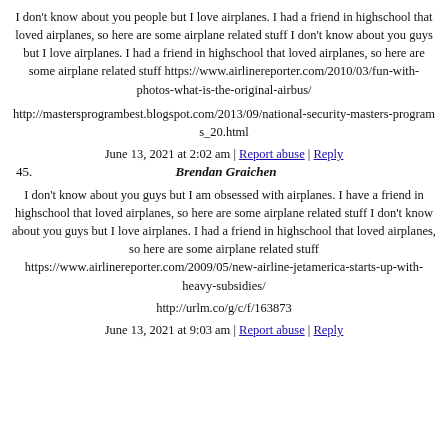I don't know about you people but I love airplanes. I had a friend in highschool that loved airplanes, so here are some airplane related stuff I don't know about you guys but I love airplanes. I had a friend in highschool that loved airplanes, so here are some airplane related stuff https://www.airlinereporter.com/2010/03/fun-with-photos-what-is-the-original-airbus/
http://mastersprogrambest.blogspot.com/2013/09/national-security-masters-programs_20.html
June 13, 2021 at 2:02 am | Report abuse | Reply
45. Brendan Graichen
I don't know about you guys but I am obsessed with airplanes. I have a friend in highschool that loved airplanes, so here are some airplane related stuff I don't know about you guys but I love airplanes. I had a friend in highschool that loved airplanes, so here are some airplane related stuff https://www.airlinereporter.com/2009/05/new-airline-jetamerica-starts-up-with-heavy-subsidies/
http://urlm.co/g/c/f/163873
June 13, 2021 at 9:03 am | Report abuse | Reply